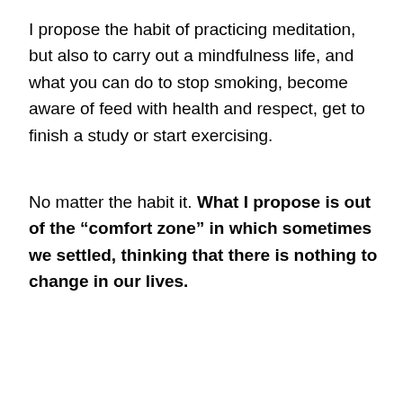I propose the habit of practicing meditation, but also to carry out a mindfulness life, and what you can do to stop smoking, become aware of feed with health and respect, get to finish a study or start exercising.
No matter the habit it. What I propose is out of the “comfort zone” in which sometimes we settled, thinking that there is nothing to change in our lives.